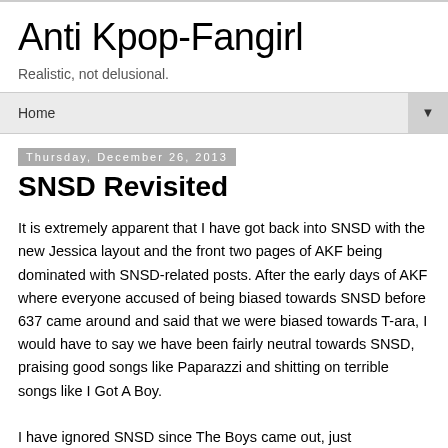Anti Kpop-Fangirl
Realistic, not delusional.
Home ▼
Thursday, December 26, 2013
SNSD Revisited
It is extremely apparent that I have got back into SNSD with the new Jessica layout and the front two pages of AKF being dominated with SNSD-related posts. After the early days of AKF where everyone accused of being biased towards SNSD before 637 came around and said that we were biased towards T-ara, I would have to say we have been fairly neutral towards SNSD, praising good songs like Paparazzi and shitting on terrible songs like I Got A Boy.
I have ignored SNSD since The Boys came out, just